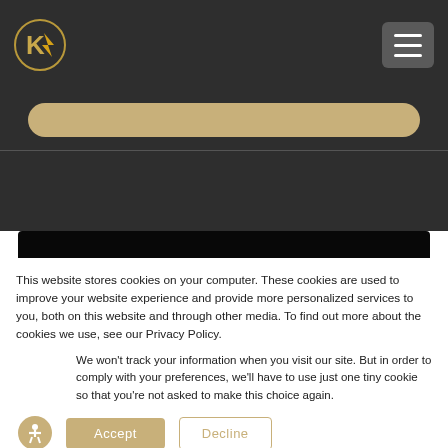[Figure (logo): Website logo — circular emblem with stylized leaf/lightning bolt in gold on dark background]
[Figure (other): Hamburger menu icon button (three horizontal lines) on grey rounded rectangle background]
[Figure (other): Gold/tan rounded search bar input area on dark background header]
[Figure (photo): Dark/near-black image area — website hero image section]
This website stores cookies on your computer. These cookies are used to improve your website experience and provide more personalized services to you, both on this website and through other media. To find out more about the cookies we use, see our Privacy Policy.
We won't track your information when you visit our site. But in order to comply with your preferences, we'll have to use just one tiny cookie so that you're not asked to make this choice again.
[Figure (other): Accessibility icon — person in circle on gold/tan background]
Accept
Decline